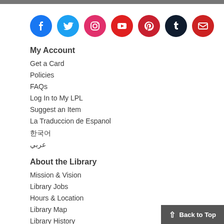[Figure (other): Row of social media icons: Facebook, Twitter, Instagram, YouTube, Pinterest, Tumblr, Email]
My Account
Get a Card
Policies
FAQs
Log In to My LPL
Suggest an Item
La Traduccion de Espanol
한국어
عربي
About the Library
Mission & Vision
Library Jobs
Hours & Location
Library Map
Library History
Back to Top